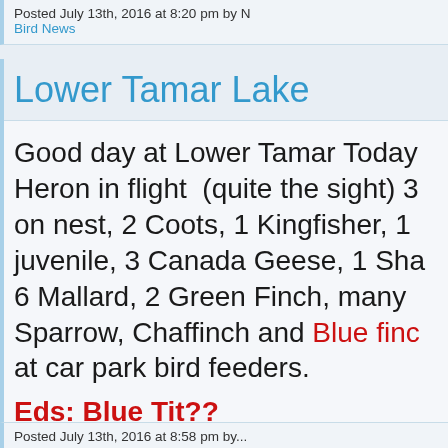Posted July 13th, 2016 at 8:20 pm by N...
Bird News
Lower Tamar Lake
Good day at Lower Tamar Today... Heron in flight (quite the sight) 3... on nest, 2 Coots, 1 Kingfisher, 1... juvenile, 3 Canada Geese, 1 Sha... 6 Mallard, 2 Green Finch, many... Sparrow, Chaffinch and Blue finc... at car park bird feeders.
Eds: Blue Tit??
Posted July 13th, 2016 at 8:58 pm by...